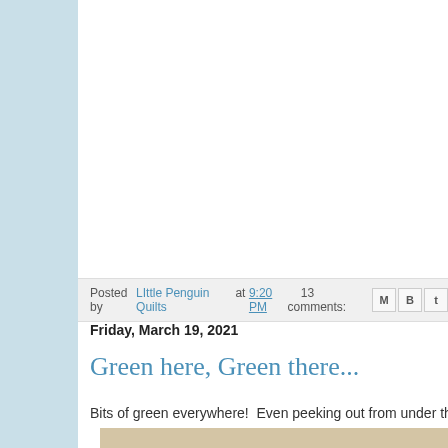Posted by LIttle Penguin Quilts at 9:20 PM   13 comments:
Friday, March 19, 2021
Green here, Green there...
Bits of green everywhere!  Even peeking out from under the sn
[Figure (photo): Partial view of a photo strip at bottom of page, showing what appears to be a quilt or fabric image]